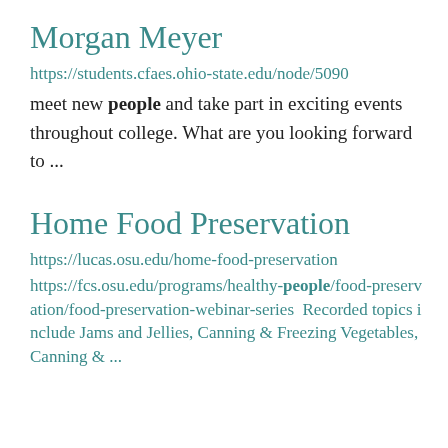Morgan Meyer
https://students.cfaes.ohio-state.edu/node/5090
meet new people and take part in exciting events throughout college. What are you looking forward to ...
Home Food Preservation
https://lucas.osu.edu/home-food-preservation
https://fcs.osu.edu/programs/healthy-people/food-preservation/food-preservation-webinar-series  Recorded topics include Jams and Jellies, Canning & Freezing Vegetables, Canning & ...